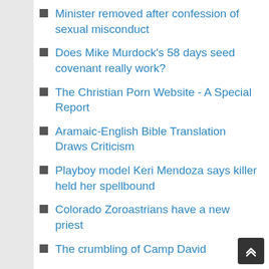Minister removed after confession of sexual misconduct
Does Mike Murdock's 58 days seed covenant really work?
The Christian Porn Website - A Special Report
Aramaic-English Bible Translation Draws Criticism
Playboy model Keri Mendoza says killer held her spellbound
Colorado Zoroastrians have a new priest
The crumbling of Camp David